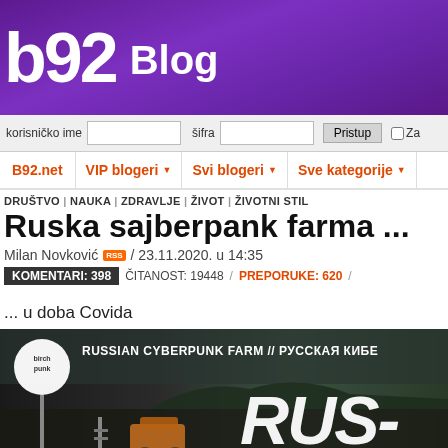b92 Blog
korisničko ime | šifra | Pristup | Za
B92.net | VIP blogeri | Svi blogeri | Sve kategorije
DRUŠTVO | NAUKA | ZDRAVLJE | ŽIVOT | ŽIVOTNI STIL
Ruska sajberpank farma ...
Milan Novković / 23.11.2020. u 14:35
KOMENTARI: 398 ČITANOST: 19448 / PREPORUKE: 620 /
... u doba Covida
[Figure (screenshot): Video thumbnail showing 'RUSSIAN CYBERPUNK FARM // РУССКАЯ КИБЕ...' with birch punk logo, robot/vehicle imagery, and large RUS- text overlay]